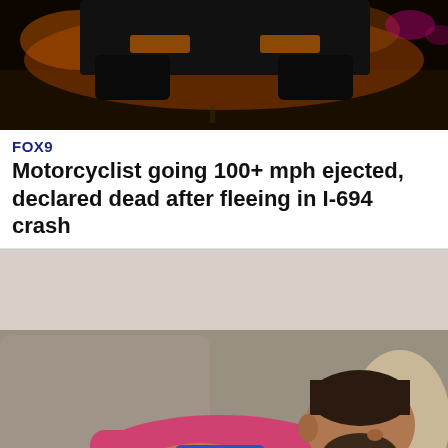[Figure (photo): Night photo showing the rear undercarriage of a vehicle on a dark road with orange-tinted background lighting.]
FOX 9
Motorcyclist going 100+ mph ejected, declared dead after fleeing in I-694 crash
[Figure (photo): Man sleeping or passed out on a gray couch, wearing a pink shirt and yellow shorts, with hands folded over a blue object on his chest.]